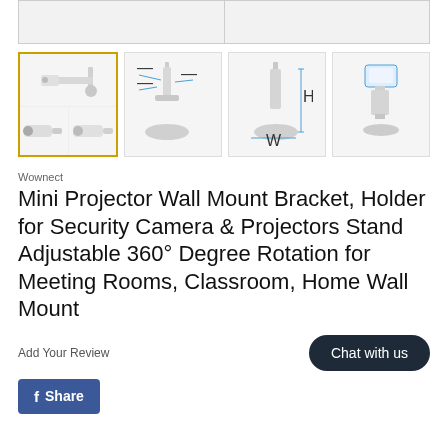[Figure (photo): Top partial image strip showing product images (cropped at top)]
[Figure (photo): Thumbnail row: 4 product images. First thumbnail (active/selected) shows a camera mount bracket with two sub-images of bullet cameras. Second shows a labeled diagram of the mount stand. Third shows dimensions diagram of the stand. Fourth shows the mount bracket with a device attached.]
Wownect
Mini Projector Wall Mount Bracket, Holder for Security Camera & Projectors Stand Adjustable 360° Degree Rotation for Meeting Rooms, Classroom, Home Wall Mount
Add Your Review
Chat with us
Share